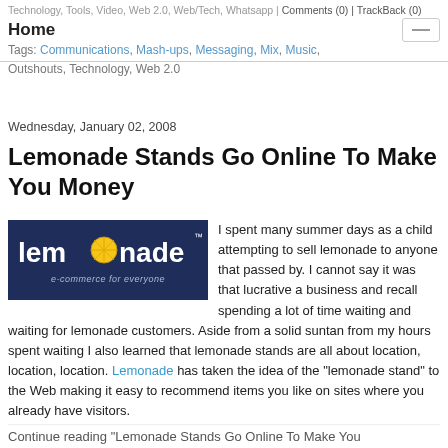Technology, Tools, Video, Web 2.0, Web/Tech, Whatsapp | Comments (0) | TrackBack (0)
Home
Tags: Communications, Mash-ups, Messaging, Mix, Music, Outshouts, Technology, Web 2.0
Wednesday, January 02, 2008
Lemonade Stands Go Online To Make You Money
[Figure (logo): Lemonade logo — dark navy background, white bold text 'lemonade' with a lemon slice replacing the letter 'o', tagline 'e-commerce for everyone' in smaller italic text]
I spent many summer days as a child attempting to sell lemonade to anyone that passed by. I cannot say it was that lucrative a business and recall spending a lot of time waiting and waiting for lemonade customers. Aside from a solid suntan from my hours spent waiting I also learned that lemonade stands are all about location, location, location. Lemonade has taken the idea of the "lemonade stand" to the Web making it easy to recommend items you like on sites where you already have visitors.
Continue reading "Lemonade Stands Go Online To Make You